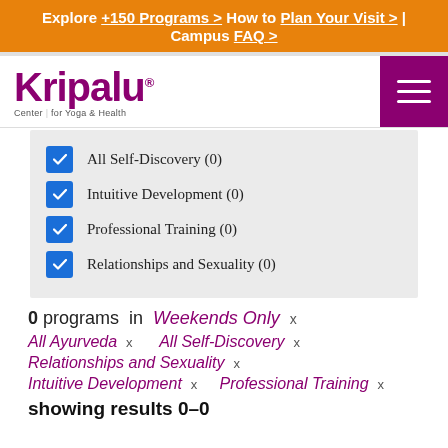Explore +150 Programs > How to Plan Your Visit > | Campus FAQ >
[Figure (logo): Kripalu Center for Yoga & Health logo with hamburger menu button]
All Self-Discovery (0)
Intuitive Development (0)
Professional Training (0)
Relationships and Sexuality (0)
0 programs in Weekends Only x All Ayurveda x All Self-Discovery x Relationships and Sexuality x Intuitive Development x Professional Training x
showing results 0–0